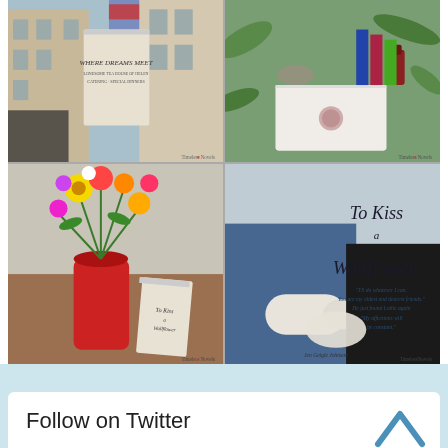[Figure (photo): 2x2 grid of Instagram-style photos: top-left shows book 'Where Dreams Meet' with a historic building; top-right shows stationery/books flatlay with wax seal and greenery (TimelessNovels); bottom-left shows colorful flower bouquet in red vase with book 'To Kiss a Wallflower' on wooden table (TimelessNovels); bottom-right shows book cover 'To Kiss a Wallflower' by Jen Geigle Johnson (TimelessNovels) with quote text.]
Follow on Twitter
Tweets from
Follow